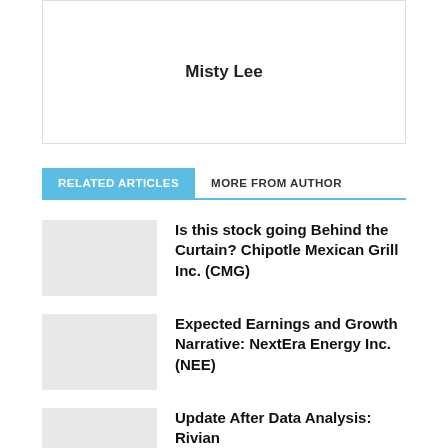Misty Lee
RELATED ARTICLES
MORE FROM AUTHOR
Is this stock going Behind the Curtain? Chipotle Mexican Grill Inc. (CMG)
Expected Earnings and Growth Narrative: NextEra Energy Inc. (NEE)
Update After Data Analysis: Rivian